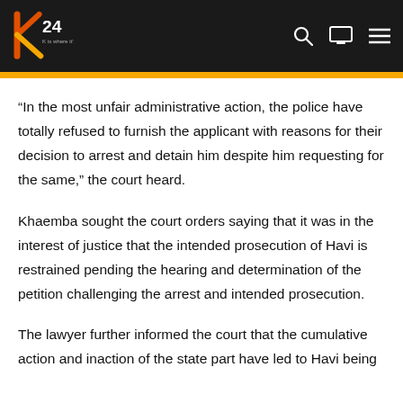[Figure (logo): K24 TV logo with stylized orange and yellow K and '24' text on dark background header with search, monitor, and menu icons]
“In the most unfair administrative action, the police have totally refused to furnish the applicant with reasons for their decision to arrest and detain him despite him requesting for the same,” the court heard.
Khaemba sought the court orders saying that it was in the interest of justice that the intended prosecution of Havi is restrained pending the hearing and determination of the petition challenging the arrest and intended prosecution.
The lawyer further informed the court that the cumulative action and inaction of the state part have led to Havi being